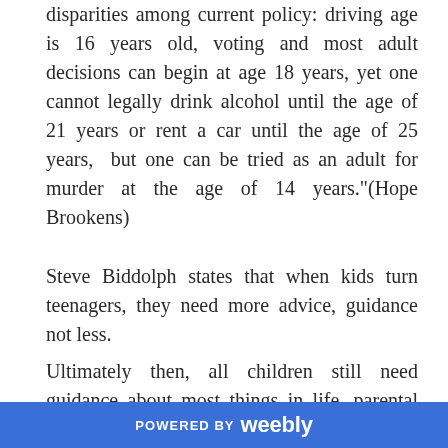disparities among current policy: driving age is 16 years old, voting and most adult decisions can begin at age 18 years, yet one cannot legally drink alcohol until the age of 21 years or rent a car until the age of 25 years,  but one can be tried as an adult for murder at the age of 14 years."(Hope Brookens)
Steve Biddolph states that when kids turn teenagers, they need more advice, guidance not less.
Ultimately then, all children still need guidance about most things in life, parental love and a place that they feel safe and secure to call their
POWERED BY weebly